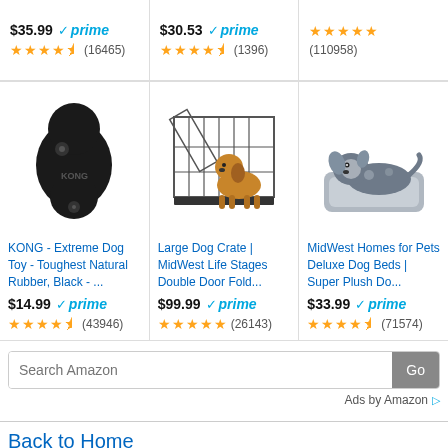$35.99 prime (16465) | $30.53 prime (1396) | (110958)
[Figure (photo): KONG black rubber dog toy]
KONG - Extreme Dog Toy - Toughest Natural Rubber, Black - ... $14.99 prime (43946)
[Figure (photo): Large wire dog crate with golden retriever inside]
Large Dog Crate | MidWest Life Stages Double Door Fold... $99.99 prime (26143)
[Figure (photo): Dog lying on grey plush dog bed]
MidWest Homes for Pets Deluxe Dog Beds | Super Plush Do... $33.99 prime (71574)
Search Amazon Go
Ads by Amazon
Back to Home